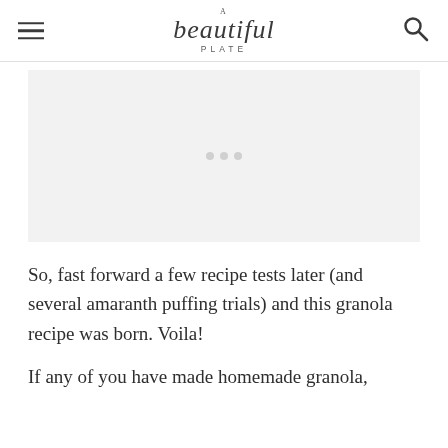A beautiful PLATE
[Figure (photo): Light gray placeholder image area representing a food photograph]
So, fast forward a few recipe tests later (and several amaranth puffing trials) and this granola recipe was born. Voila!
If any of you have made homemade granola,